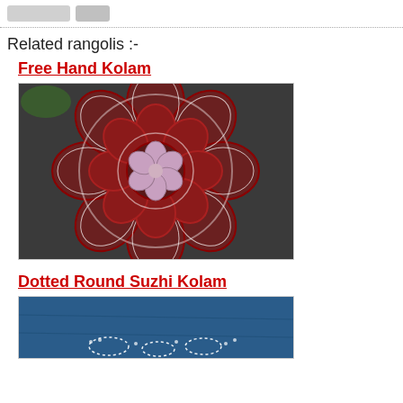Related rangolis :-
Free Hand Kolam
[Figure (photo): A decorative free hand kolam rangoli design in white and dark red/maroon on a dark background, featuring intricate floral patterns arranged in concentric circles.]
Dotted Round Suzhi Kolam
[Figure (photo): Partial view of a blue-background kolam with white dotted designs, showing the bottom portion of the image.]